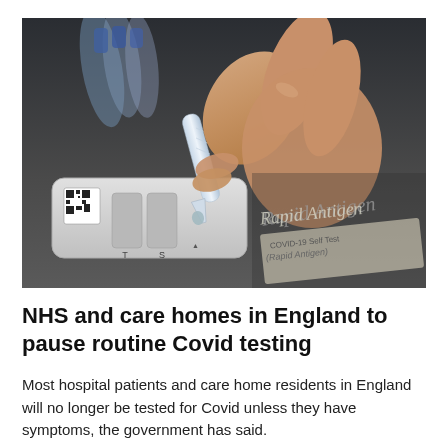[Figure (photo): Close-up photo of a hand holding a small liquid dropper/vial over a COVID-19 rapid antigen lateral flow test device. The test kit tray is white/grey with a QR code visible on the left. In the background, partially visible text reads 'Rapid Antigen' on packaging.]
NHS and care homes in England to pause routine Covid testing
Most hospital patients and care home residents in England will no longer be tested for Covid unless they have symptoms, the government has said.